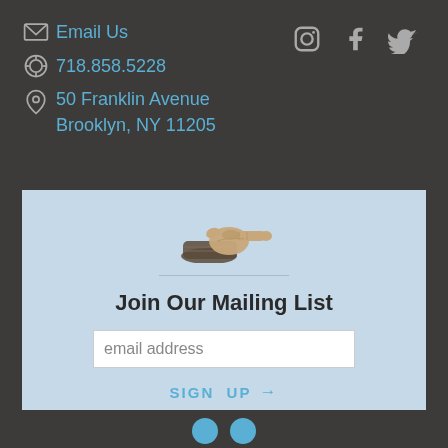Email Us
718.858.5228
50 Franklin Avenue Brooklyn, NY 11205
[Figure (illustration): Social media icons: Instagram, Facebook, Twitter]
[Figure (illustration): Vintage pointing hand/finger illustration]
Join Our Mailing List
email address
SIGN UP →